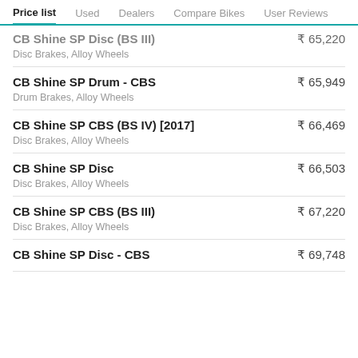Price list | Used | Dealers | Compare Bikes | User Reviews
CB Shine SP Disc (BS III) — ₹65,220 — Disc Brakes, Alloy Wheels
CB Shine SP Drum - CBS — ₹65,949 — Drum Brakes, Alloy Wheels
CB Shine SP CBS (BS IV) [2017] — ₹66,469 — Disc Brakes, Alloy Wheels
CB Shine SP Disc — ₹66,503 — Disc Brakes, Alloy Wheels
CB Shine SP CBS (BS III) — ₹67,220 — Disc Brakes, Alloy Wheels
CB Shine SP Disc - CBS — ₹69,748